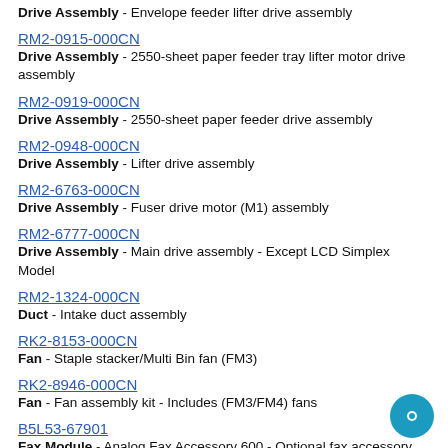Drive Assembly - Envelope feeder lifter drive assembly
RM2-0915-000CN
Drive Assembly - 2550-sheet paper feeder tray lifter motor drive assembly
RM2-0919-000CN
Drive Assembly - 2550-sheet paper feeder drive assembly
RM2-0948-000CN
Drive Assembly - Lifter drive assembly
RM2-6763-000CN
Drive Assembly - Fuser drive motor (M1) assembly
RM2-6777-000CN
Drive Assembly - Main drive assembly - Except LCD Simplex Model
RM2-1324-000CN
Duct - Intake duct assembly
RK2-8153-000CN
Fan - Staple stacker/Multi Bin fan (FM3)
RK2-8946-000CN
Fan - Fan assembly kit - Includes (FM3/FM4) fans
B5L53-67901
Fax Module - Analog Fax Accessory 600 - Optional fax accessory for the M577dn model